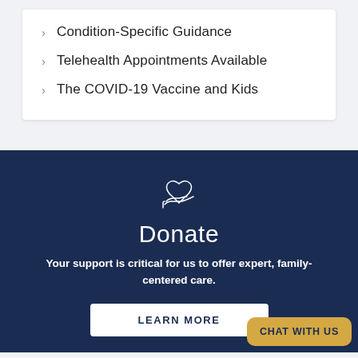Condition-Specific Guidance
Telehealth Appointments Available
The COVID-19 Vaccine and Kids
[Figure (illustration): Hand holding a heart icon, outline style, white on dark navy background]
Donate
Your support is critical for us to offer expert, family-centered care.
LEARN MORE
CHAT WITH US